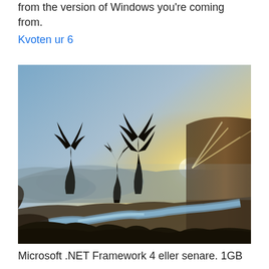from the version of Windows you're coming from.
Kvoten ur 6
[Figure (photo): Aerial landscape photo showing a winding river through a forested valley at sunset/sunrise, with silhouettes of trees in the foreground and warm glowing sky]
Microsoft .NET Framework 4 eller senare. 1GB